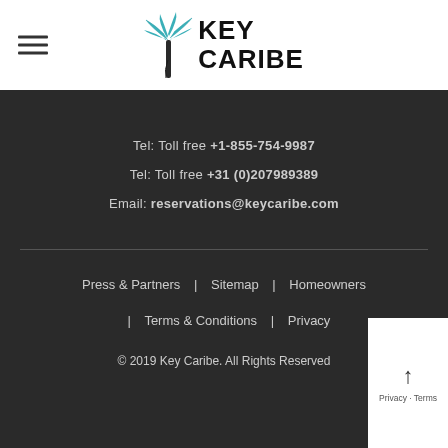[Figure (logo): Key Caribe logo with teal palm tree icon and bold black text KEY CARIBE]
Tel: Toll free +1-855-754-9987
Tel: Toll free +31 (0)207989389
Email: reservations@keycaribe.com
Press & Partners | Sitemap | Homeowners | Terms & Conditions | Privacy
© 2019 Key Caribe. All Rights Reserved